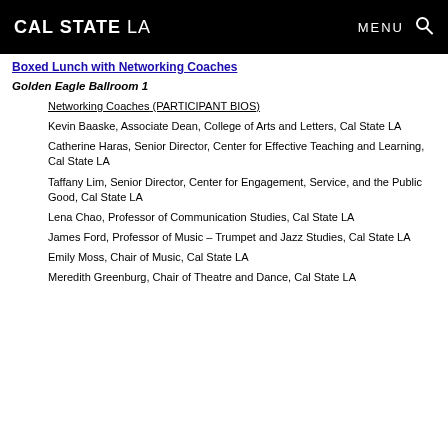CAL STATE LA | MENU [search icon]
Boxed Lunch with Networking Coaches
Golden Eagle Ballroom 1
Networking Coaches (PARTICIPANT BIOS)
Kevin Baaske, Associate Dean, College of Arts and Letters, Cal State LA
Catherine Haras, Senior Director, Center for Effective Teaching and Learning, Cal State LA
Taffany Lim, Senior Director, Center for Engagement, Service, and the Public Good, Cal State LA
Lena Chao, Professor of Communication Studies, Cal State LA
James Ford, Professor of Music – Trumpet and Jazz Studies, Cal State LA
Emily Moss, Chair of Music, Cal State LA
Meredith Greenburg, Chair of Theatre and Dance, Cal State LA